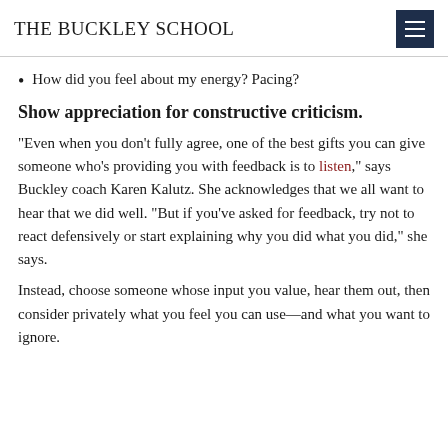THE BUCKLEY SCHOOL
How did you feel about my energy? Pacing?
Show appreciation for constructive criticism.
"Even when you don't fully agree, one of the best gifts you can give someone who's providing you with feedback is to listen," says Buckley coach Karen Kalutz. She acknowledges that we all want to hear that we did well. "But if you've asked for feedback, try not to react defensively or start explaining why you did what you did," she says.
Instead, choose someone whose input you value, hear them out, then consider privately what you feel you can use—and what you want to ignore.